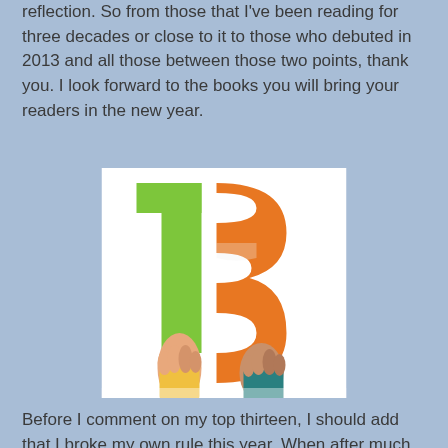reflection. So from those that I've been reading for three decades or close to it to those who debuted in 2013 and all those between those two points, thank you. I look forward to the books you will bring your readers in the new year.
[Figure (photo): Two hands raised holding large colorful number '13' cutouts — a green '1' and an orange '3' — against a white background. One arm wears a yellow sleeve, the other a teal sleeve.]
Before I comment on my top thirteen, I should add that I broke my own rule this year. When after much thought, I cut my keeper list to ten, I realized that I cut three from the list not because I thought they were less worthy of a "best" recognition than the ten that remained but because they were written by dear friends. I decided that wasn't a good